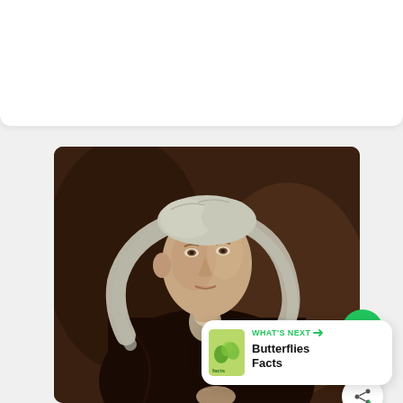[Figure (photo): Classical oil portrait painting of Sir Isaac Newton with long white/grey curly hair, wearing a dark robe, against a dark brown background. The subject gazes slightly to the viewer's left.]
235
WHAT'S NEXT → Butterflies Facts